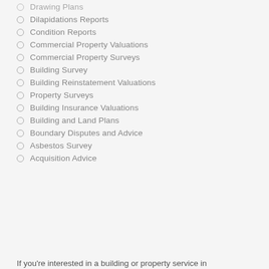Drawing Plans
Dilapidations Reports
Condition Reports
Commercial Property Valuations
Commercial Property Surveys
Building Survey
Building Reinstatement Valuations
Property Surveys
Building Insurance Valuations
Building and Land Plans
Boundary Disputes and Advice
Asbestos Survey
Acquisition Advice
If you're interested in a building or property service in